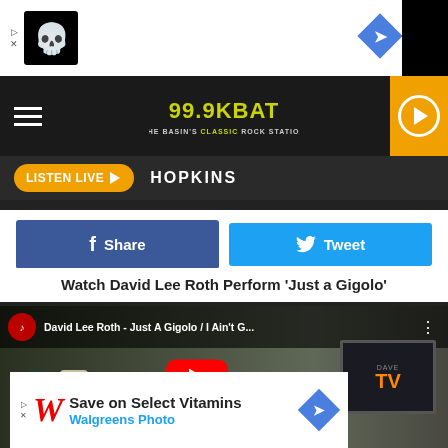[Figure (screenshot): Advertisement banner with skull logo icon and navigation diamond]
99.9 KBAT – THE BASIN'S CLASSIC ROCK STATION
LISTEN LIVE ▶   HOPKINS
Share   Tweet
Watch David Lee Roth Perform 'Just a Gigolo'
[Figure (screenshot): YouTube video thumbnail: David Lee Roth - Just A Gigolo / I Ain't G... with red play button overlay and Dave TV logo]
[Figure (screenshot): Advertisement: Save on Select Vitamins – Walgreens Photo]